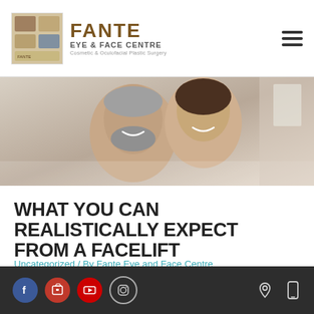Fante Eye & Face Centre — Cosmetic & Oculofacial Plastic Surgery
[Figure (photo): Smiling couple, middle-aged man with grey beard and woman embracing from behind, indoor background, hero banner image]
WHAT YOU CAN REALISTICALLY EXPECT FROM A FACELIFT
Uncategorized / By Fante Eye and Face Centre
Social media icons: Facebook, Instagram (2), YouTube. Location and mobile icons on right.